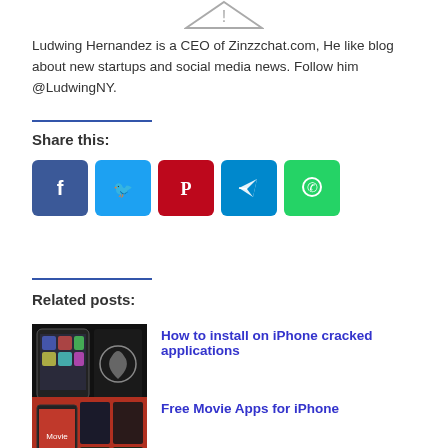[Figure (other): Warning/placeholder image icon at top center]
Ludwing Hernandez is a CEO of Zinzzchat.com, He like blog about new startups and social media news. Follow him @LudwingNY.
[Figure (infographic): Social share buttons: Facebook, Twitter, Pinterest, Telegram, WhatsApp]
Share this:
Related posts:
[Figure (photo): iPhone with cracked applications thumbnail]
How to install on iPhone cracked applications
[Figure (photo): Free Movie Apps for iPhone thumbnail]
Free Movie Apps for iPhone